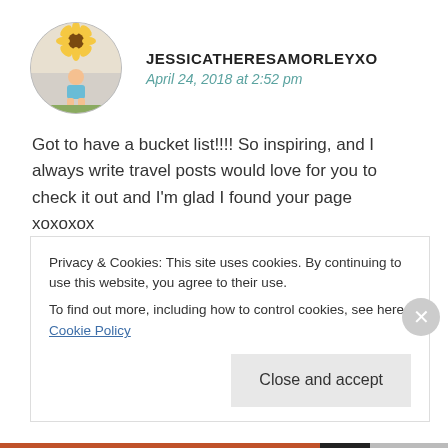[Figure (photo): Circular avatar photo of a child sitting in front of a large sunflower decoration]
JESSICATHERESAMORLEYXO
April 24, 2018 at 2:52 pm
Got to have a bucket list!!!! So inspiring, and I always write travel posts would love for you to check it out and I'm glad I found your page xoxoxox
★ Liked by 2 people
REPLY
Privacy & Cookies: This site uses cookies. By continuing to use this website, you agree to their use.
To find out more, including how to control cookies, see here: Cookie Policy
Close and accept